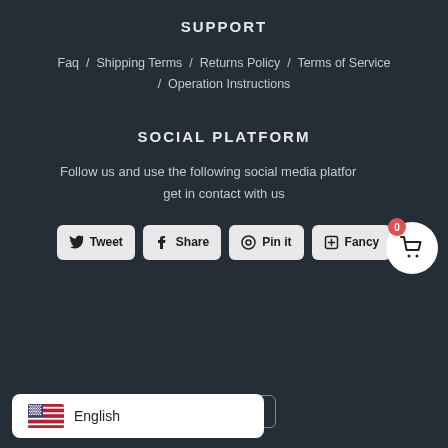SUPPORT
Faq  /  Shipping Terms  /  Returns Policy  /  Terms of Service  /  Operation Instructions
SOCIAL PLATFORM
Follow us and use the following social media platforms to get in contact with us
[Figure (screenshot): Social sharing buttons: Tweet, Share, Pin it, Fancy]
[Figure (screenshot): Language dropdown showing English with US flag]
English